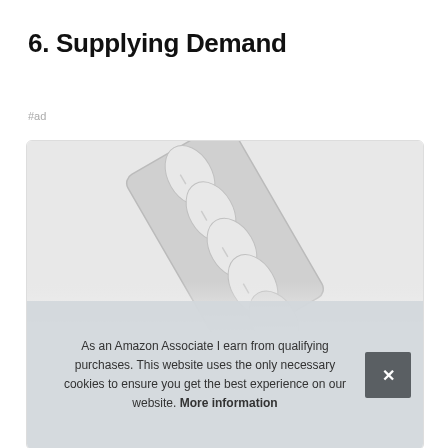6. Supplying Demand
#ad
[Figure (photo): A blister pack of capsule pills shown at an angle on a white background, partially popped out of the packaging.]
As an Amazon Associate I earn from qualifying purchases. This website uses the only necessary cookies to ensure you get the best experience on our website. More information